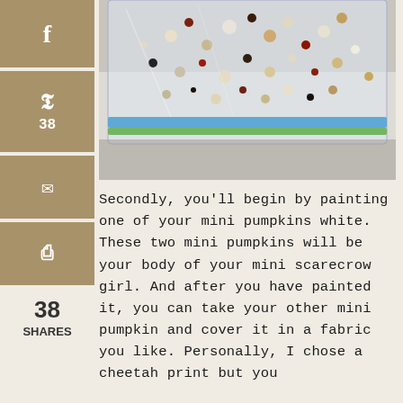[Figure (photo): A clear ziplock bag filled with mixed beads of various colors and sizes — white, brown, red, black, tan — sitting on a white surface.]
Secondly, you'll begin by painting one of your mini pumpkins white. These two mini pumpkins will be your body of your mini scarecrow girl. And after you have painted it, you can take your other mini pumpkin and cover it in a fabric you like. Personally, I chose a cheetah print but you